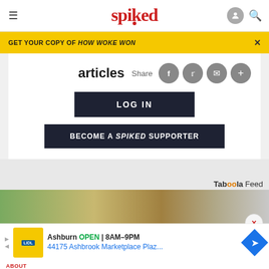spiked
GET YOUR COPY OF HOW WOKE WON
articles
Share
LOG IN
BECOME A SPIKED SUPPORTER
Taboola Feed
[Figure (photo): Partial image of a person's head with brown hair, green background]
Ashburn OPEN 8AM–9PM 44175 Ashbrook Marketplace Plaz...
ABOUT